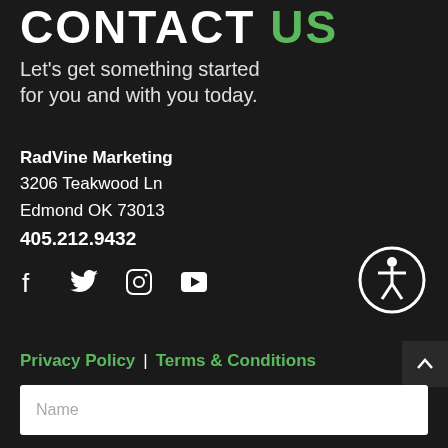CONTACT US
Let's get something started for you and with you today.
RadVine Marketing
3206 Teakwood Ln
Edmond OK 73013
405.212.9432
[Figure (infographic): Social media icons: Facebook, Twitter, Instagram, YouTube]
[Figure (illustration): Accessibility icon - person with circle border]
Privacy Policy | Terms & Conditions
Name (form field placeholder)
Email Address (form field placeholder)